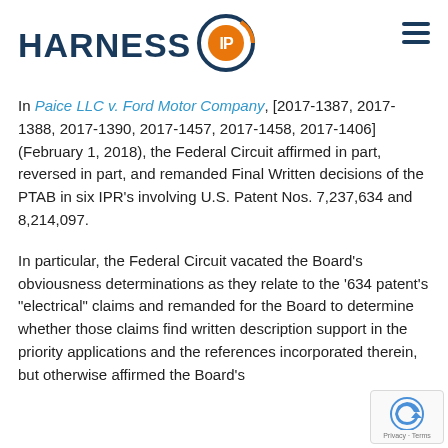[Figure (logo): Harness IP logo: bold dark blue text 'HARNESS' followed by a circular icon with 'IP' inside, orange and dark blue colors]
In Paice LLC v. Ford Motor Company, [2017-1387, 2017-1388, 2017-1390, 2017-1457, 2017-1458, 2017-1406] (February 1, 2018), the Federal Circuit affirmed in part, reversed in part, and remanded Final Written decisions of the PTAB in six IPR's involving U.S. Patent Nos. 7,237,634 and 8,214,097.
In particular, the Federal Circuit vacated the Board's obviousness determinations as they relate to the '634 patent's "electrical" claims and remanded for the Board to determine whether those claims find written description support in the priority applications and the references incorporated therein, but otherwise affirmed the Board's